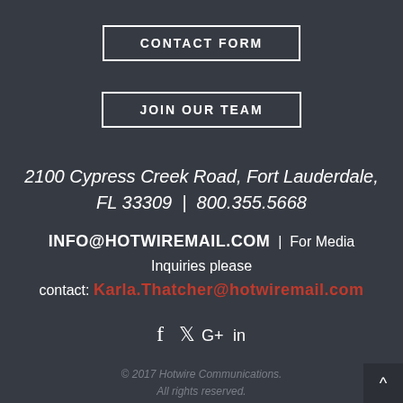CONTACT FORM
JOIN OUR TEAM
2100 Cypress Creek Road, Fort Lauderdale, FL 33309  |  800.355.5668
INFO@HOTWIREMAIL.COM  |  For Media Inquiries please contact: Karla.Thatcher@hotwiremail.com
[Figure (other): Social media icons: Facebook, Twitter, Google+, LinkedIn]
© 2017 Hotwire Communications. All rights reserved.